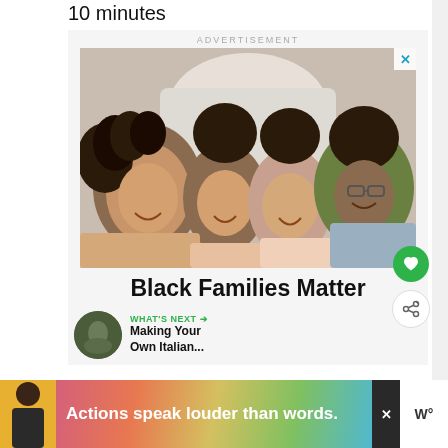10 minutes
ADVERTISEMENT
[Figure (photo): Family photo showing four people (two adults and two children) lying down together, viewed from above, smiling at the camera]
Black Families Matter
WHAT'S NEXT → Making Your Own Italian...
[Figure (infographic): Bottom banner advertisement with person silhouette and text 'Actions speak louder than words.']